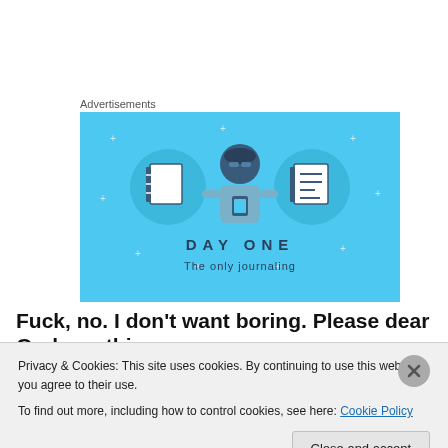Advertisements
[Figure (illustration): Day One journaling app advertisement with blue background, showing a character holding a phone with notebook icons on either side, and text 'DAY ONE' and 'The only journaling']
Fuck, no. I don't want boring. Please dear God, anything
Privacy & Cookies: This site uses cookies. By continuing to use this website, you agree to their use.
To find out more, including how to control cookies, see here: Cookie Policy
Close and accept